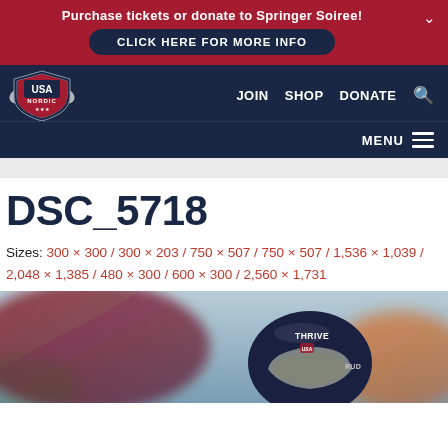Purchase tickets or donate to Springer Soiree!
CLICK HERE FOR MORE INFO
[Figure (logo): USA Nordic shield logo with eagle wings, red/white/blue colors]
JOIN   SHOP   DONATE
MENU
DSC_5718
Sizes: 300 × 300 / 300 × 203 / 750 × 507 / 750 × 507 / 1,536 × 1,039 / 2,048 × 1,385 / 480 × 300 / 600 × 300 / 2,560 × 1,731
[Figure (photo): Close-up photo of a Nordic ski jumping athlete wearing a dark helmet with THRIVE and RUDY branding, blurred bokeh background]